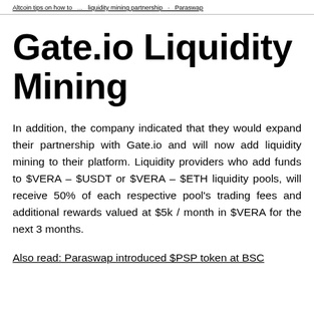Altcoin tips on how to ...  liquidity mining partnership  Paraswap
Gate.io Liquidity Mining
In addition, the company indicated that they would expand their partnership with Gate.io and will now add liquidity mining to their platform. Liquidity providers who add funds to $VERA – $USDT or $VERA – $ETH liquidity pools, will receive 50% of each respective pool's trading fees and additional rewards valued at $5k / month in $VERA for the next 3 months.
Also read: Paraswap introduced $PSP token at BSC